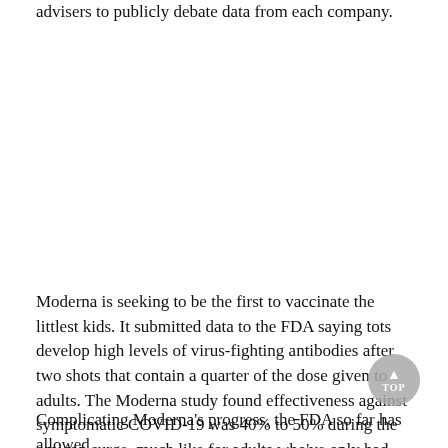advisers to publicly debate data from each company.
Moderna is seeking to be the first to vaccinate the littlest kids. It submitted data to the FDA saying tots develop high levels of virus-fighting antibodies after two shots that contain a quarter of the dose given to adults. The Moderna study found effectiveness against symptomatic COVID-19 was 40% to 50% during the omicon surge, much like for adults who've only had two vaccine doses.
Complicating Moderna's progress, the FDA so far has allowed its action to be observed to be observed